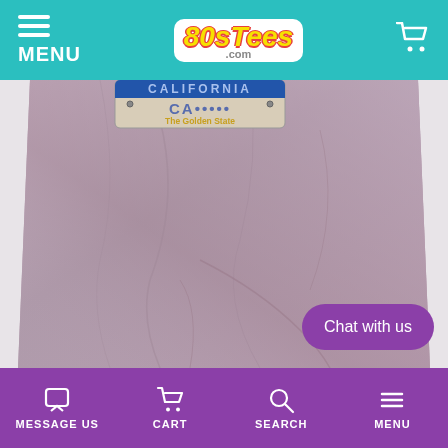MENU | 80sTees.com | [cart icon]
[Figure (photo): A heathered mauve/purple t-shirt laid flat, showing the body of the shirt. At the top of the shirt is a California license plate tag reading 'The Golden State'. The shirt fabric shows natural wrinkles and folds.]
Chat with us
MESSAGE US | CART | SEARCH | MENU